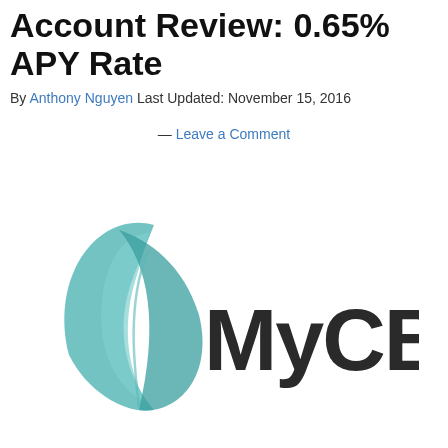Account Review: 0.65% APY Rate
By Anthony Nguyen Last Updated: November 15, 2016
— Leave a Comment
[Figure (logo): MyCBB logo — a teal/green stylized leaf/feather shape on the left with the text 'MyCBB' in dark bold letters]